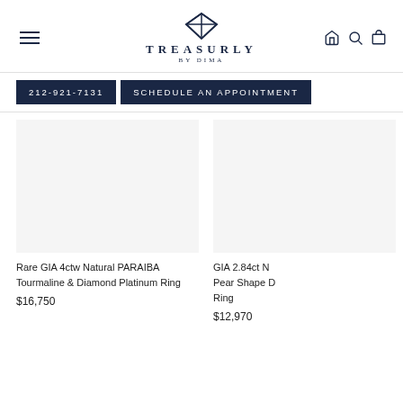TREASURLY BY DIMA — Navigation header with logo, hamburger menu, and icons
212-921-7131
SCHEDULE AN APPOINTMENT
[Figure (photo): Product image placeholder for Rare GIA 4ctw Natural PARAIBA Tourmaline & Diamond Platinum Ring]
Rare GIA 4ctw Natural PARAIBA Tourmaline & Diamond Platinum Ring
$16,750
[Figure (photo): Product image placeholder for GIA 2.84ct Natural Pear Shape Ring]
GIA 2.84ct N Pear Shape Ring
$12,970